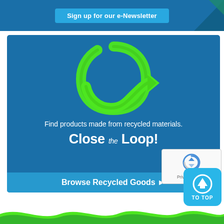[Figure (screenshot): Top banner with 'Sign up for our e-Newsletter' button on blue background with teal triangle decoration]
[Figure (infographic): Blue card with green recycling loop arrow icon, text 'Find products made from recycled materials. Close the Loop!', and 'Browse Recycled Goods' button]
Sign up for our e-Newsletter
Find products made from recycled materials.
Close the Loop!
Browse Recycled Goods
[Figure (other): reCAPTCHA widget with Privacy and Terms links]
[Figure (other): TO TOP button (circular up arrow in cyan rounded square)]